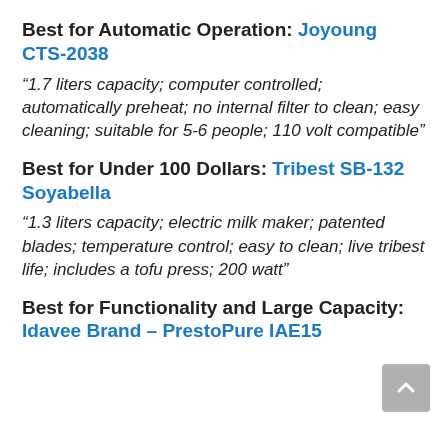Best for Automatic Operation: Joyoung CTS-2038
“1.7 liters capacity; computer controlled; automatically preheat; no internal filter to clean; easy cleaning; suitable for 5-6 people; 110 volt compatible”
Best for Under 100 Dollars: Tribest SB-132 Soyabella
“1.3 liters capacity; electric milk maker; patented blades; temperature control; easy to clean; live tribest life; includes a tofu press; 200 watt”
Best for Functionality and Large Capacity: Idavee Brand – PrestoPure IAE15